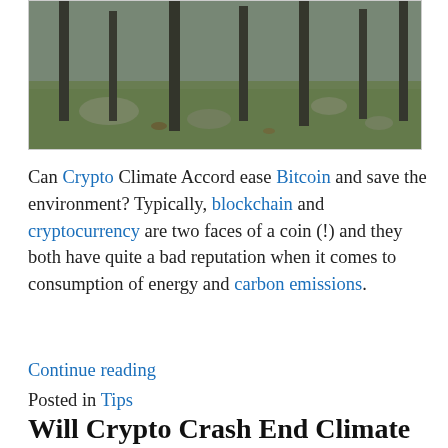[Figure (photo): Forest scene with mossy ground, rocks, and dark tree trunks in misty/overcast conditions]
Can Crypto Climate Accord ease Bitcoin and save the environment? Typically, blockchain and cryptocurrency are two faces of a coin (!) and they both have quite a bad reputation when it comes to consumption of energy and carbon emissions.
Continue reading
Posted in Tips
Will Crypto Crash End Climate Impact?